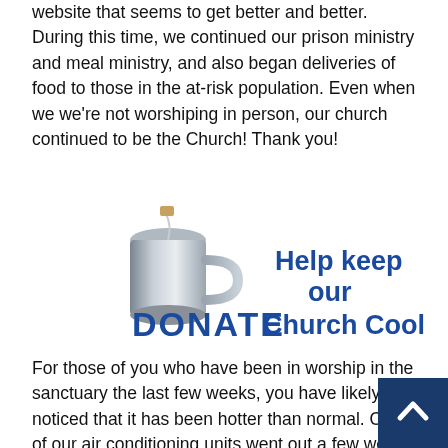website that seems to get better and better. During this time, we continued our prison ministry and meal ministry, and also began deliveries of food to those in the at-risk population. Even when we we're not worshiping in person, our church continued to be the Church! Thank you!
[Figure (infographic): Donate graphic with a metal mug and bold blue text reading DONATE and Help keep our Church Cool]
For those of you who have been in worship in the sanctuary the last few weeks, you have likely noticed that it has been hotter than normal. One of our air conditioning units went out a few weeks ago and needs to be replaced. The expected cost of repla the unit is $12,000. Since we are in the heat of